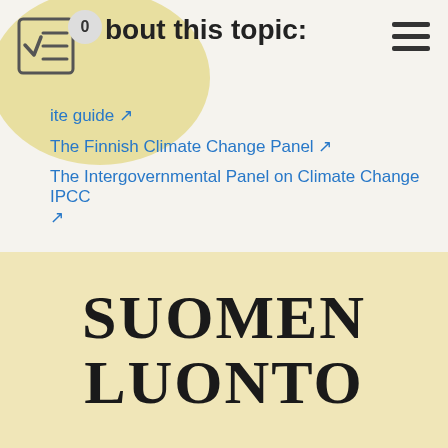bout this topic:
ite guide ↗
The Finnish Climate Change Panel ↗
The Intergovernmental Panel on Climate Change IPCC ↗
[Figure (logo): Suomen Luonto logo in large serif bold text on a pale yellow background]